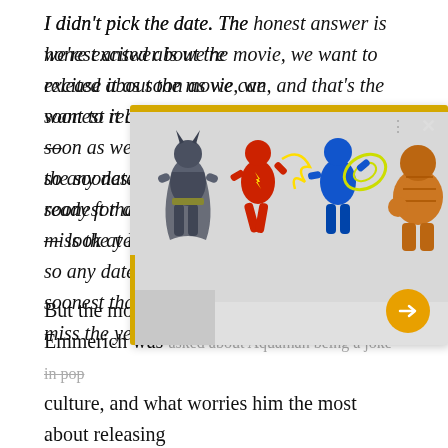I didn't pick the date. The honest answer is we're excited about the movie, we want to release it as soon as we can, and that's the soonest it can be ready for a g[ood movie] — look at B[atman v Superman] — so any date [is] soonest tha[t] miss the yea[r]
[Figure (photo): A popup/lightbox showing four DC superhero action figures (Batman in grey, The Flash in red, Blue Beetle in blue, and a fourth in orange/brown), displayed on a light grey background with a yellow top accent bar, navigation arrow, and close button.]
But the most int[eresting part] Emmerich was asked about Aquaman being a joke in pop culture, and what worries him the most about releasing an Aquaman movie. His first thought? That the movie may not be ready in time for that December 21st date.